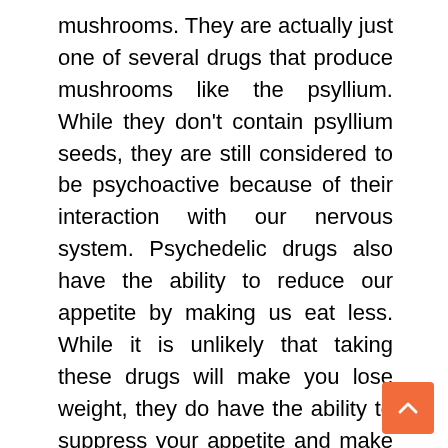mushrooms. They are actually just one of several drugs that produce mushrooms like the psyllium. While they don't contain psyllium seeds, they are still considered to be psychoactive because of their interaction with our nervous system. Psychedelic drugs also have the ability to reduce our appetite by making us eat less. While it is unlikely that taking these drugs will make you lose weight, they do have the ability to suppress your appetite and make you feel full for a longer period of time.
Another class of psychoactive substance that closely resembles Shrooms is Acid. It is a psychoactive substance that is created from Lactobacillus acidophilus bacteria. It can also be